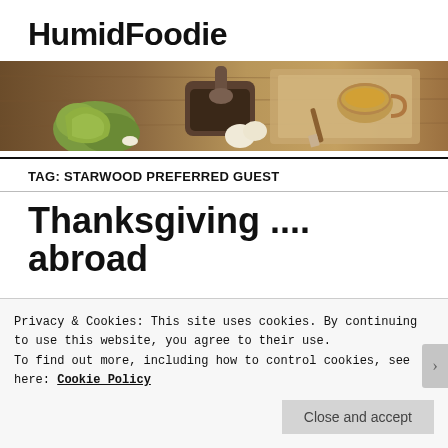HumidFoodie
[Figure (photo): Overhead food photo showing green vegetables, a mortar and pestle, a cup of tea/broth on a wooden cutting board, and garlic cloves on a dark wooden surface]
TAG: STARWOOD PREFERRED GUEST
Thanksgiving .... abroad
Privacy & Cookies: This site uses cookies. By continuing to use this website, you agree to their use.
To find out more, including how to control cookies, see here: Cookie Policy
Close and accept